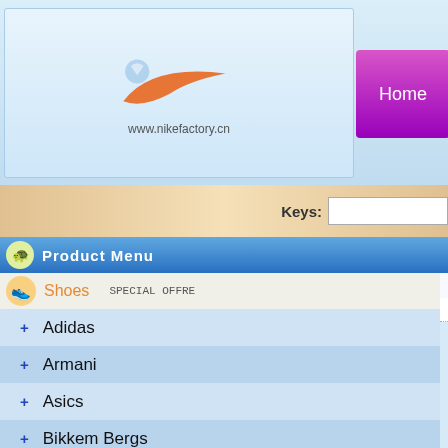[Figure (screenshot): Nike factory website header with logo showing Nike swoosh and www.nikefactory.cn URL, navigation buttons for Home, About Us, Contact Us, Order]
www.nikefactory.cn | Home | About Us | Contact Us | Order
Keys:
Product Menu
Shoes  SPECIAL OFFRE
Product_List:[Jordan]  [Jordan 3.5]
Sort:Jordan 3.5, Total:29 ,There are 1- 29
+ Adidas
+ Armani
+ Asics
+ Bikkem Bergs
+ Boss
+ Burberry
+ Buscemi
+ Christian Louboutin
+ ConverseAllStar
+ D&G
+ Dsquared2
Jordan3.5-29 Price:€60 Order
Jordan3.5-2... Price:€60 O...